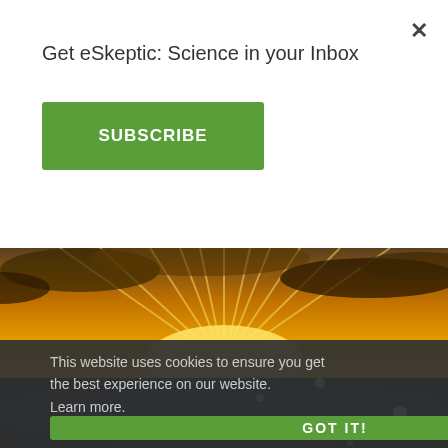×
Get eSkeptic: Science in your Inbox
SUBSCRIBE
[Figure (photo): Sunset photo with golden sun rays bursting through dramatic clouds]
[Figure (photo): Blue neural network / neurons abstract background image]
This website uses cookies to ensure you get the best experience on our website. Learn more.
GOT IT!